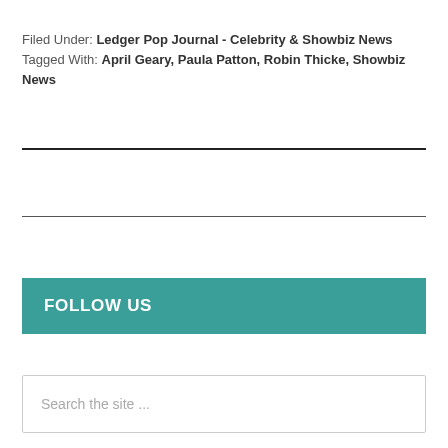Filed Under: Ledger Pop Journal - Celebrity & Showbiz News
Tagged With: April Geary, Paula Patton, Robin Thicke, Showbiz News
FOLLOW US